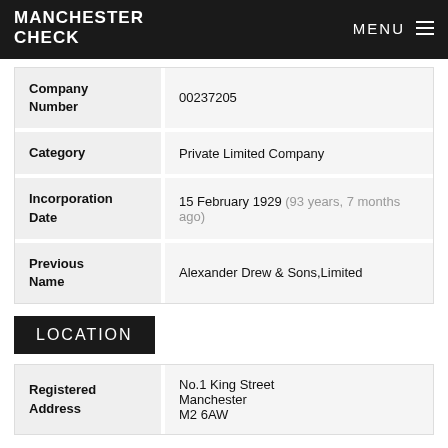MANCHESTER CHECK  MENU
| Field | Value |
| --- | --- |
| Company Number | 00237205 |
| Category | Private Limited Company |
| Incorporation Date | 15 February 1929 (93 years, 7 months ago) |
| Previous Name | Alexander Drew & Sons,Limited |
LOCATION
| Field | Value |
| --- | --- |
| Registered Address | No.1 King Street
Manchester
M2 6AW |